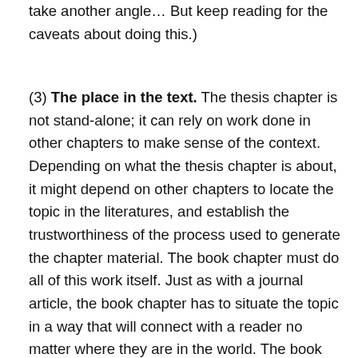take another angle… But keep reading for the caveats about doing this.)
(3) The place in the text. The thesis chapter is not stand-alone; it can rely on work done in other chapters to make sense of the context. Depending on what the thesis chapter is about, it might depend on other chapters to locate the topic in the literatures, and establish the trustworthiness of the process used to generate the chapter material. The book chapter must do all of this work itself. Just as with a journal article, the book chapter has to situate the topic in a way that will connect with a reader no matter where they are in the world. The book chapter writer must also establish the topic's location in the relevant policy/practice/debates/literatures (which ever is most relevant to the book) and say something about the